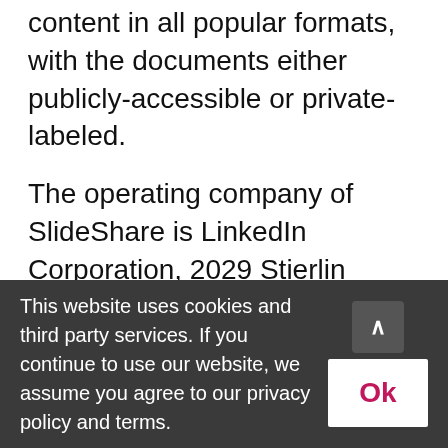content in all popular formats, with the documents either publicly-accessible or private-labeled.
The operating company of SlideShare is LinkedIn Corporation, 2029 Stierlin Court Mountain View, CA 94043, United States. For privacy matters outside of the United States the LinkedIn Ireland, Privacy Policy Issues, Wilton Plaza, Wilton Place, Dublin 2, Ireland, is responsible.
LinkedIn SlideShare provides so-called embedded codes for the media content
This website uses cookies and third party services. If you continue to use our website, we assume you agree to our privacy policy and terms.